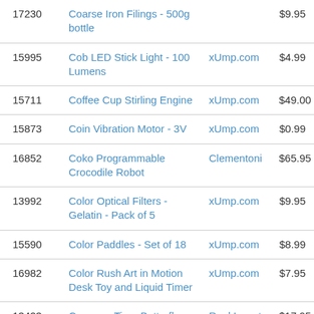| 17230 | Coarse Iron Filings - 500g bottle |  | $9.95 |
| 15995 | Cob LED Stick Light - 100 Lumens | xUmp.com | $4.99 |
| 15711 | Coffee Cup Stirling Engine | xUmp.com | $49.00 |
| 15873 | Coin Vibration Motor - 3V | xUmp.com | $0.99 |
| 16852 | Coko Programmable Crocodile Robot | Clementoni | $65.95 |
| 13992 | Color Optical Filters - Gelatin - Pack of 5 | xUmp.com | $9.95 |
| 15590 | Color Paddles - Set of 18 | xUmp.com | $8.99 |
| 16982 | Color Rush Art in Motion Desk Toy and Liquid Timer | xUmp.com | $7.95 |
| 13423 | Common Tiger Butterfly Specimen in Acrylic Block | Real Insect | $17.95 |